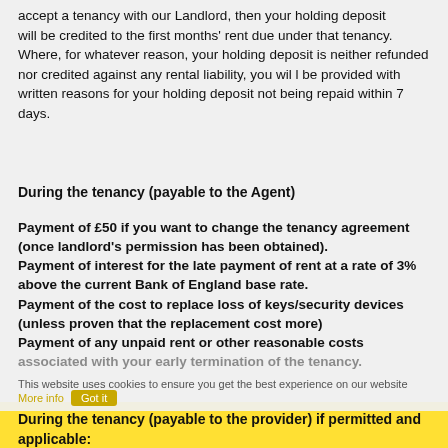accept a tenancy with our Landlord, then your holding deposit will be credited to the first months' rent due under that tenancy. Where, for whatever reason, your holding deposit is neither refunded nor credited against any rental liability, you wil l be provided with written reasons for your holding deposit not being repaid within 7 days.
During the tenancy (payable to the Agent)
Payment of £50 if you want to change the tenancy agreement (once landlord's permission has been obtained). Payment of interest for the late payment of rent at a rate of 3% above the current Bank of England base rate. Payment of the cost to replace loss of keys/security devices (unless proven that the replacement cost more) Payment of any unpaid rent or other reasonable costs associated with your early termination of the tenancy.
This website uses cookies to ensure you get the best experience on our website More info Got it
During the tenancy (payable to the provider) if permitted and applicable: